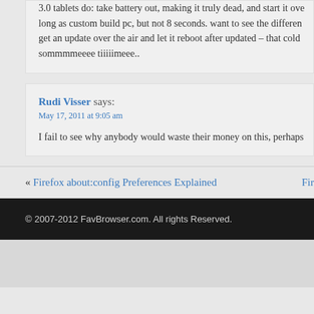3.0 tablets do: take battery out, making it truly dead, and start it over long as custom build pc, but not 8 seconds. want to see the differen get an update over the air and let it reboot after updated – that cold sommmmeeee tiiiiimeee..
Rudi Visser says:
May 17, 2011 at 9:05 am
I fail to see why anybody would waste their money on this, perhaps
« Firefox about:config Preferences Explained   Fir
© 2007-2012 FavBrowser.com. All rights Reserved.